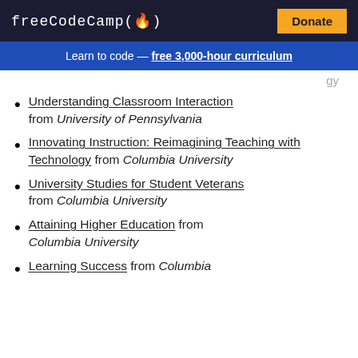freeCodeCamp(🔥) | Donate
Learn to code — free 3,000-hour curriculum
(partial cut-off text — top of page)
Understanding Classroom Interaction from University of Pennsylvania
Innovating Instruction: Reimagining Teaching with Technology from Columbia University
University Studies for Student Veterans from Columbia University
Attaining Higher Education from Columbia University
Learning Success from Columbia